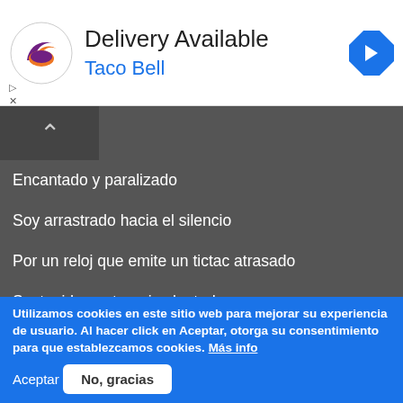[Figure (other): Taco Bell delivery advertisement banner with logo, 'Delivery Available' title, 'Taco Bell' subtitle in blue, and a blue navigation arrow icon on the right]
Encantado y paralizado
Soy arrastrado hacia el silencio
Por un reloj que emite un tictac atrasado
Sostenido contra mi voluntad
Las ilusiones se convierten en polvo
Se esparcen al viento
Utilizamos cookies en este sitio web para mejorar su experiencia de usuario. Al hacer click en Aceptar, otorga su consentimiento para que establezcamos cookies. Más info
Aceptar    No, gracias